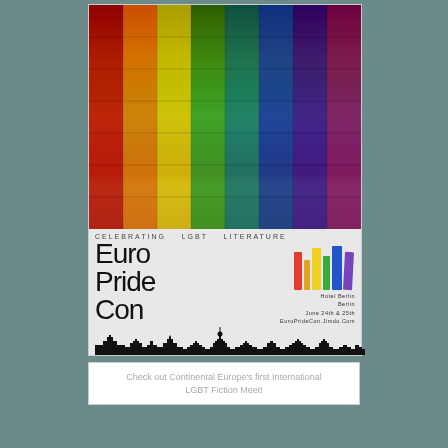[Figure (illustration): EuroPrideCon promotional poster. Top half shows a collage of LGBT book covers arranged in rainbow colors (red, orange, yellow, green, teal, blue, indigo, violet). Bottom half on gray background shows text: 'Celebrating LGBT Literature', large 'Euro Pride Con' text, colorful book spine logo, skyline silhouette of Berlin, and event details: Hotel Berlin, Berlin, June 24th & 25th, EuroPrideCon.Jimdo.Com.]
Check out Continental Europe's first International LGBT Fiction Meet!